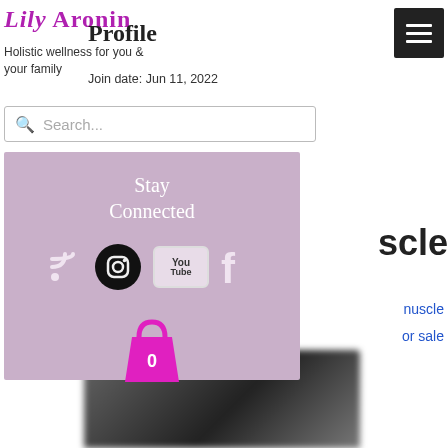Lily Aronin
Holistic wellness for you & your family
Profile
Join date: Jun 11, 2022
Search...
[Figure (infographic): Stay Connected social media widget with RSS, Instagram, YouTube, Facebook icons and a pink shopping cart with 0 items, on a mauve/lavender background]
uscle
muscle
or sale
[Figure (photo): Blurred dark background photo at bottom of page]